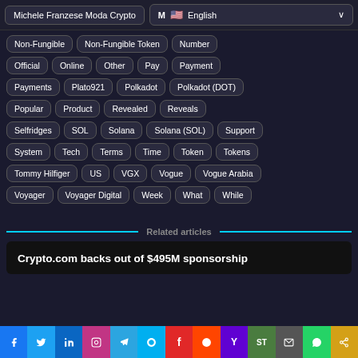Michele Franzese Moda Crypto | English
Non-Fungible
Non-Fungible Token
Number
Official
Online
Other
Pay
Payment
Payments
Plato921
Polkadot
Polkadot (DOT)
Popular
Product
Revealed
Reveals
Selfridges
SOL
Solana
Solana (SOL)
Support
System
Tech
Terms
Time
Token
Tokens
Tommy Hilfiger
US
VGX
Vogue
Vogue Arabia
Voyager
Voyager Digital
Week
What
While
Related articles
Crypto.com backs out of $495M sponsorship